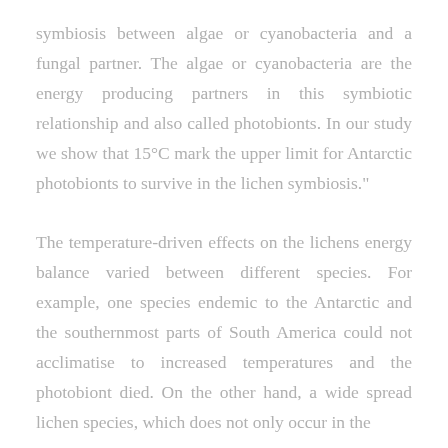symbiosis between algae or cyanobacteria and a fungal partner. The algae or cyanobacteria are the energy producing partners in this symbiotic relationship and also called photobionts. In our study we show that 15°C mark the upper limit for Antarctic photobionts to survive in the lichen symbiosis."
The temperature-driven effects on the lichens energy balance varied between different species. For example, one species endemic to the Antarctic and the southernmost parts of South America could not acclimatise to increased temperatures and the photobiont died. On the other hand, a wide spread lichen species, which does not only occur in the